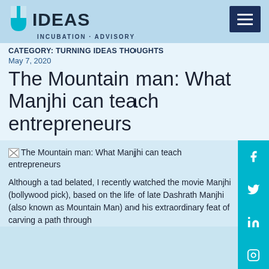IDEAS — INCUBATION · ADVISORY
CATEGORY: TURNING IDEAS THOUGHTS
May 7, 2020
The Mountain man: What Manjhi can teach entrepreneurs
[Figure (illustration): Broken image placeholder with alt text: The Mountain man: What Manjhi can teach entrepreneurs]
Although a tad belated, I recently watched the movie Manjhi (bollywood pick), based on the life of late Dashrath Manjhi (also known as Mountain Man) and his extraordinary feat of carving a path through